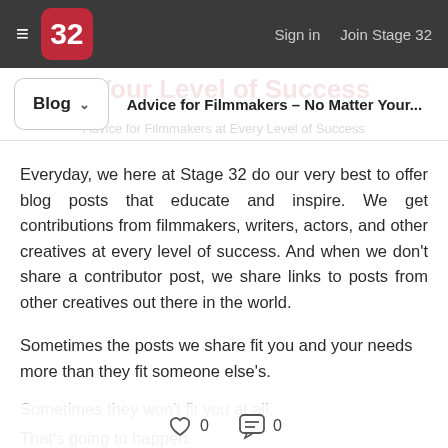≡  32   Sign in   Join Stage 32
Blog ∨   Advice for Filmmakers - No Matter Your...
Everyday, we here at Stage 32 do our very best to offer blog posts that educate and inspire. We get contributions from filmmakers, writers, actors, and other creatives at every level of success. And when we don't share a contributor post, we share links to posts from other creatives out there in the world.
Sometimes the posts we share fit you and your needs more than they fit someone else's.
Sometimes they won't fit you at all.
That's going to happen.